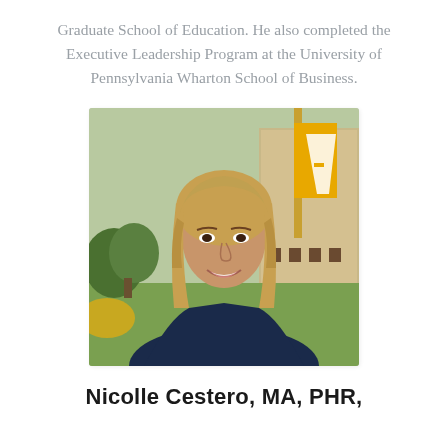Graduate School of Education. He also completed the Executive Leadership Program at the University of Pennsylvania Wharton School of Business.
[Figure (photo): Professional headshot of a woman with blonde hair, smiling, wearing a dark navy sleeveless top, photographed outdoors on a campus with green grass, trees, and a building with orange/yellow banners in the background.]
Nicolle Cestero, MA, PHR,